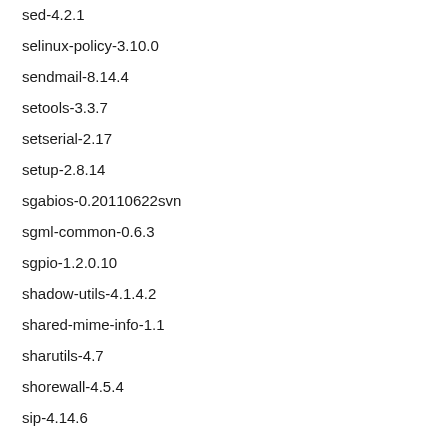sed-4.2.1
selinux-policy-3.10.0
sendmail-8.14.4
setools-3.3.7
setserial-2.17
setup-2.8.14
sgabios-0.20110622svn
sgml-common-0.6.3
sgpio-1.2.0.10
shadow-utils-4.1.4.2
shared-mime-info-1.1
sharutils-4.7
shorewall-4.5.4
sip-4.14.6